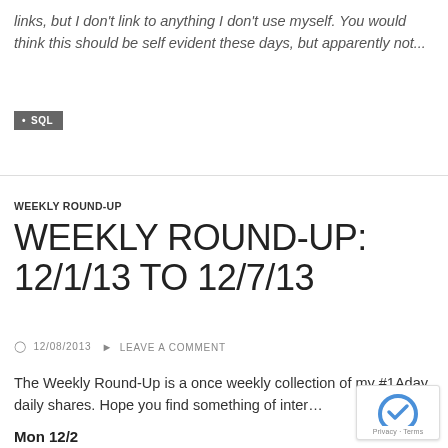links, but I don't link to anything I don't use myself. You would think this should be self evident these days, but apparently not...
SQL
WEEKLY ROUND-UP
WEEKLY ROUND-UP: 12/1/13 TO 12/7/13
12/08/2013   LEAVE A COMMENT
The Weekly Round-Up is a once weekly collection of my #1Aday daily shares. Hope you find something of inter...
Mon 12/2